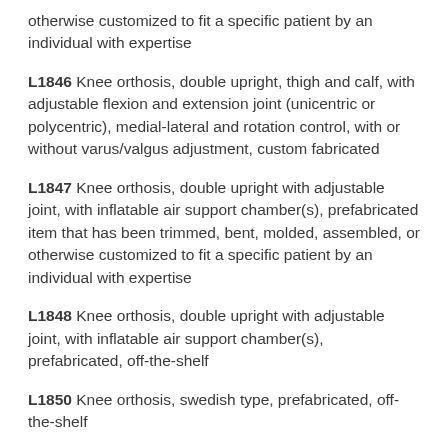otherwise customized to fit a specific patient by an individual with expertise
L1846 Knee orthosis, double upright, thigh and calf, with adjustable flexion and extension joint (unicentric or polycentric), medial-lateral and rotation control, with or without varus/valgus adjustment, custom fabricated
L1847 Knee orthosis, double upright with adjustable joint, with inflatable air support chamber(s), prefabricated item that has been trimmed, bent, molded, assembled, or otherwise customized to fit a specific patient by an individual with expertise
L1848 Knee orthosis, double upright with adjustable joint, with inflatable air support chamber(s), prefabricated, off-the-shelf
L1850 Knee orthosis, swedish type, prefabricated, off-the-shelf